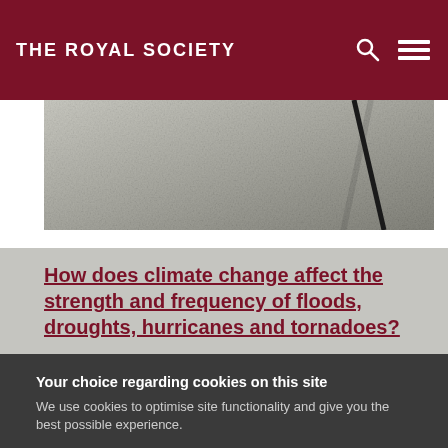THE ROYAL SOCIETY
[Figure (photo): Aerial or close-up grayscale photo of a textured surface with a dark diagonal line, possibly flood water or cracked earth]
How does climate change affect the strength and frequency of floods, droughts, hurricanes and tornadoes?
Your choice regarding cookies on this site
We use cookies to optimise site functionality and give you the best possible experience.
I Accept Cookies
I Do Not Accept Cookies
Settings